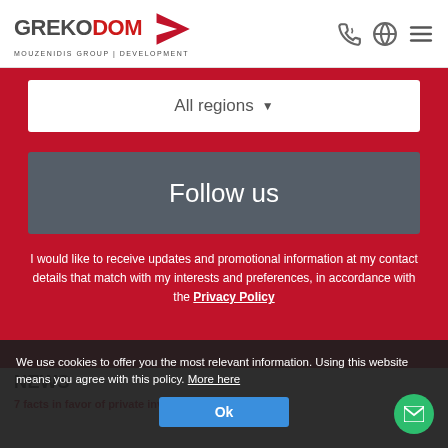[Figure (logo): Grekodom logo with red angular arrow and text GREKODOM MOUZENIDIS GROUP | DEVELOPMENT]
[Figure (other): Navigation icons: phone, globe, hamburger menu]
All regions ▾
Follow us
I would like to receive updates and promotional information at my contact details that match with my interests and preferences, in accordance with the Privacy Policy
NEWS
22.0x...
7 facts in favor of private investment in the...
We use cookies to offer you the most relevant information. Using this website means you agree with this policy. More here Ok